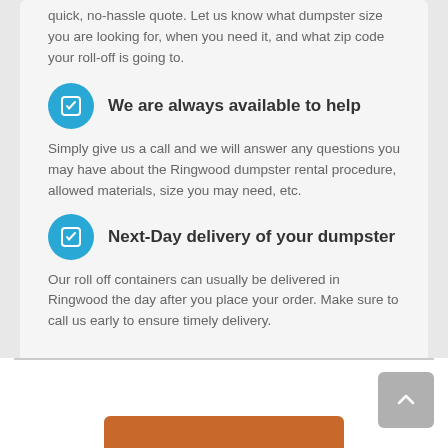quick, no-hassle quote. Let us know what dumpster size you are looking for, when you need it, and what zip code your roll-off is going to.
We are always available to help
Simply give us a call and we will answer any questions you may have about the Ringwood dumpster rental procedure, allowed materials, size you may need, etc.
Next-Day delivery of your dumpster
Our roll off containers can usually be delivered in Ringwood the day after you place your order. Make sure to call us early to ensure timely delivery.